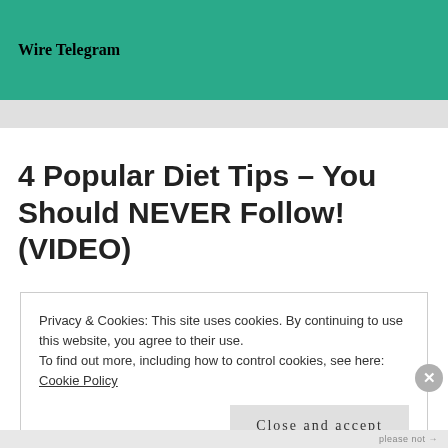Wire Telegram
4 Popular Diet Tips – You Should NEVER Follow! (VIDEO)
Privacy & Cookies: This site uses cookies. By continuing to use this website, you agree to their use.
To find out more, including how to control cookies, see here:
Cookie Policy
Close and accept